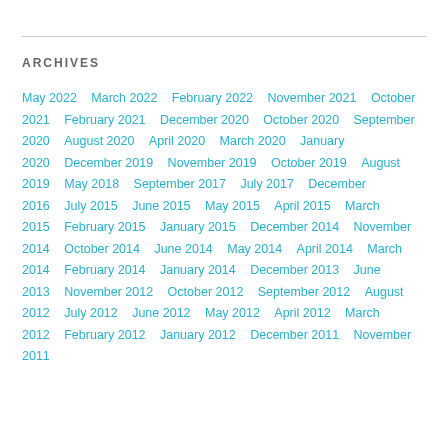ARCHIVES
May 2022   March 2022   February 2022   November 2021   October 2021   February 2021   December 2020   October 2020   September 2020   August 2020   April 2020   March 2020   January 2020   December 2019   November 2019   October 2019   August 2019   May 2018   September 2017   July 2017   December 2016   July 2015   June 2015   May 2015   April 2015   March 2015   February 2015   January 2015   December 2014   November 2014   October 2014   June 2014   May 2014   April 2014   March 2014   February 2014   January 2014   December 2013   June 2013   November 2012   October 2012   September 2012   August 2012   July 2012   June 2012   May 2012   April 2012   March 2012   February 2012   January 2012   December 2011   November 2011